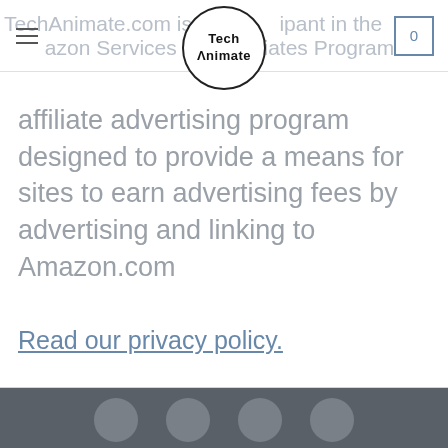TechAnimate.com is a participant in the Amazon Services LLC Associates Program
affiliate advertising program designed to provide a means for sites to earn advertising fees by advertising and linking to Amazon.com
Read our privacy policy.